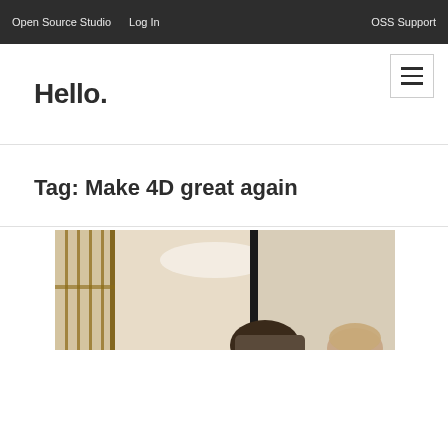Open Source Studio   Log In   OSS Support
Hello.
Tag: Make 4D great again
[Figure (photo): A photograph showing a person apparently in a room with sliding door panels and a whiteboard or wall in the background. The image is partially cropped showing the head/upper body of a person.]